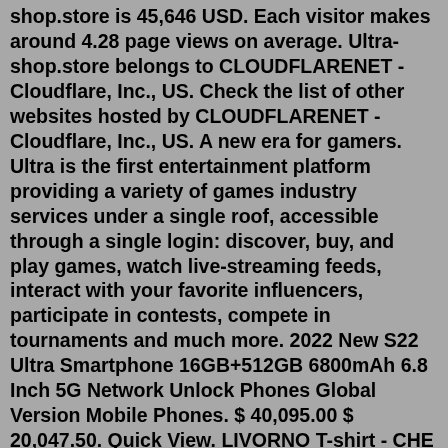shop.store is 45,646 USD. Each visitor makes around 4.28 page views on average. Ultra-shop.store belongs to CLOUDFLARENET - Cloudflare, Inc., US. Check the list of other websites hosted by CLOUDFLARENET - Cloudflare, Inc., US. A new era for gamers. Ultra is the first entertainment platform providing a variety of games industry services under a single roof, accessible through a single login: discover, buy, and play games, watch live-streaming feeds, interact with your favorite influencers, participate in contests, compete in tournaments and much more. 2022 New S22 Ultra Smartphone 16GB+512GB 6800mAh 6.8 Inch 5G Network Unlock Phones Global Version Mobile Phones. $ 40,095.00 $ 20,047.50. Quick View. LIVORNO T-shirt - CHE GUEVARA. €17,90. ST. PAULI ULTRAS T-shirt - CHE GUEVARA. €17,90.ULTRA PC Intel Core I7-12700F Asus PRIME Z690M-PLUS SSD M2 1TB 32GB RTX3070 8GB 6,932.00₾Ultra PRO International LLC ("Ultra PRO") is the leading manufacturer and supplier of